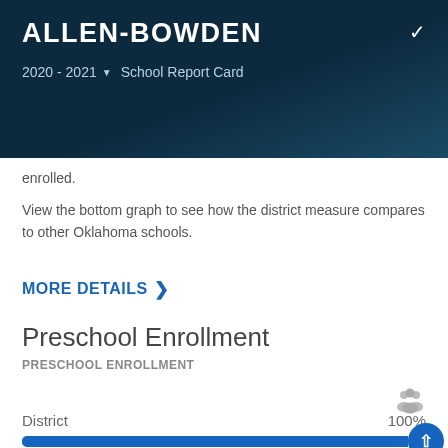ALLEN-BOWDEN
2020 - 2021 ▾  School Report Card
enrolled.
View the bottom graph to see how the district measure compares to other Oklahoma schools.
MORE DETAILS >
Preschool Enrollment
PRESCHOOL ENROLLMENT
[Figure (bar-chart): District Preschool Enrollment]